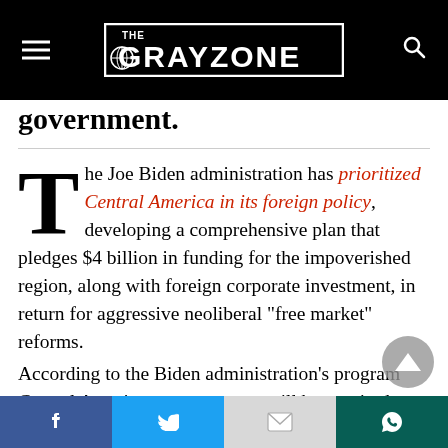THE GRAYZONE
government.
The Joe Biden administration has prioritized Central America in its foreign policy, developing a comprehensive plan that pledges $4 billion in funding for the impoverished region, along with foreign corporate investment, in return for aggressive neoliberal “free market” reforms.
According to the Biden administration’s program Central American governments will be required to
Facebook | Twitter | Gmail | WhatsApp